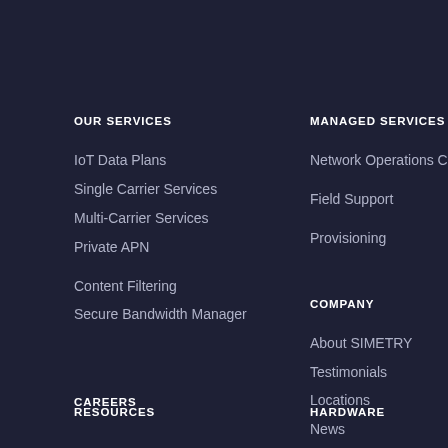OUR SERVICES
IoT Data Plans
Single Carrier Services
Multi-Carrier Services
Private APN
Content Filtering
Secure Bandwidth Manager
CAREERS
PLATFORM
RESOURCES
MANAGED SERVICES
Network Operations Center
Field Support
Provisioning
COMPANY
About SIMETRY
Testimonials
Locations
News
HARDWARE